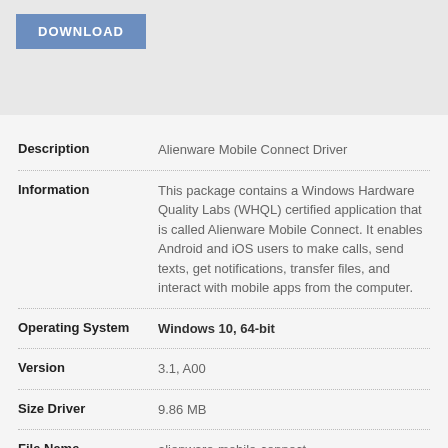[Figure (other): Download button with blue-grey background and white bold text 'DOWNLOAD']
| Field | Value |
| --- | --- |
| Description | Alienware Mobile Connect Driver |
| Information | This package contains a Windows Hardware Quality Labs (WHQL) certified application that is called Alienware Mobile Connect. It enables Android and iOS users to make calls, send texts, get notifications, transfer files, and interact with mobile apps from the computer. |
| Operating System | Windows 10, 64-bit |
| Version | 3.1, A00 |
| Size Driver | 9.86 MB |
| File Name | alienware-mobile-connect-driver_9twhd_win_3.1_a00.exe |
| Date | 12 Oct 2020 |
| Observations | Alienware Mobile Connect requires two components to work properly. The |